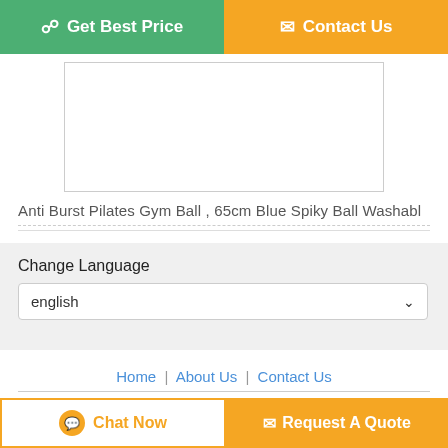Get Best Price
Contact Us
[Figure (other): Product image placeholder box]
Anti Burst Pilates Gym Ball , 65cm Blue Spiky Ball Washabl
Change Language
english
Home | About Us | Contact Us
Desktop View
Copyright © 2019 - 2021 pvcgymball.com.
All rights reserved.
Chat Now
Request A Quote